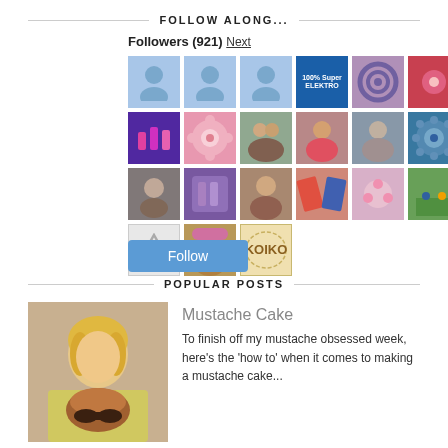FOLLOW ALONG...
Followers (921) Next
[Figure (other): Grid of 21 follower avatar thumbnails including default placeholder avatars (blue with person silhouette), and various profile photos and images]
Follow
POPULAR POSTS
[Figure (photo): Photo of a blonde woman holding a cake decorated with a mustache]
Mustache Cake
To finish off my mustache obsessed week, here's the 'how to' when it comes to making a mustache cake...